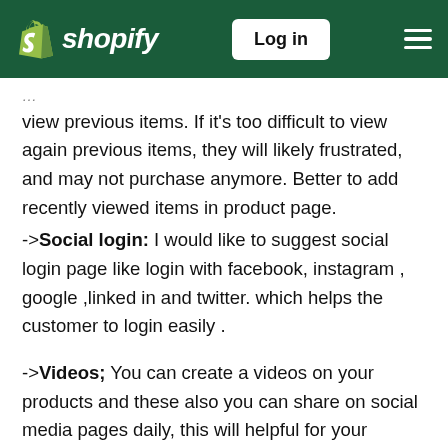Shopify — Log in
view previous items. If it's too difficult to view again previous items, they will likely frustrated, and may not purchase anymore. Better to add recently viewed items in product page.
->Social login: I would like to suggest social login page like login with facebook, instagram , google ,linked in and twitter. which helps the customer to login easily .
->Videos; You can create a videos on your products and these also you can share on social media pages daily, this will helpful for your conversions.
I would wish that you will take this suggestions into consideration to increase traffic into your store. I